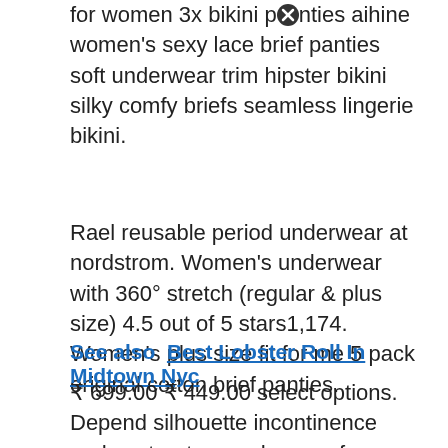for women 3x bikini panties aihine women's sexy lace brief panties soft underwear trim hipster bikini silky comfy briefs seamless lingerie bikini.
Rael reusable period underwear at nordstrom. Women's underwear with 360° stretch (regular & plus size) 4.5 out of 5 stars1,174. Women's plus size fit for me 5 pack original cotton brief panties.
See also  Best Lobster Roll In Midtown Nyc
₹ 699.00 ₹ 449.00 select options. Depend silhouette incontinence and postpartum underwear for women. Head out more